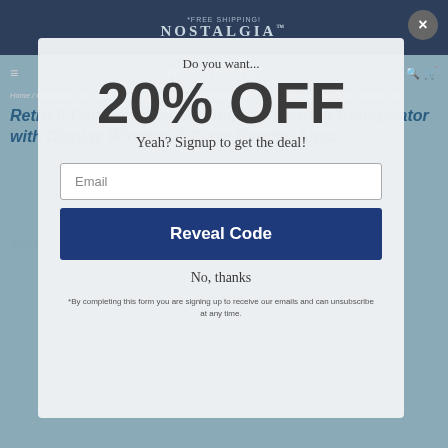[Figure (screenshot): Website background showing Nostalgia brand page with navigation and product title]
Do you want...
20% OFF
Yeah? Signup to get the deal!
Email
Reveal Code
No, thanks
*By completing this form you are signing up to receive our emails and can unsubscribe at any time.